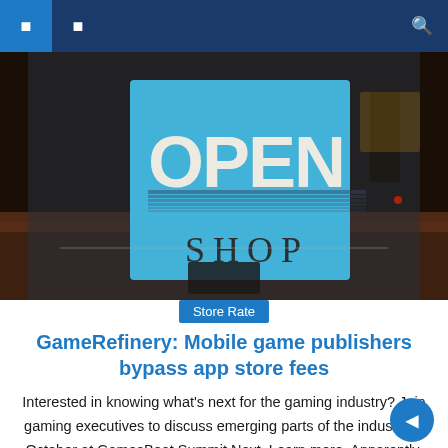Navigation bar with menu icons
[Figure (photo): Photo of a shop window with a blue and white 'OPEN SHOP' sign displayed, wooden interior visible in background]
Store Rate
GameRefinery: Mobile game publishers bypass app store fees
Interested in knowing what's next for the gaming industry? Join gaming executives to discuss emerging parts of the industry in October at GamesBeat Summit Next. Learn more. Apparently, Epic Games isn't the only one trying to figure out